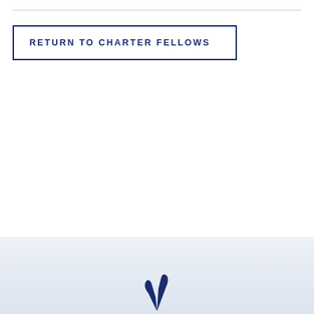RETURN TO CHARTER FELLOWS
[Figure (logo): Dark navy blue logo/emblem partially visible at the bottom center of the page, appearing to be a sailboat or nautical symbol]